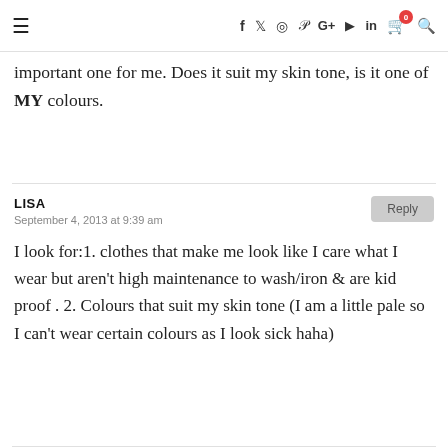≡  f  𝕏  ○  𝒫  G+  ▶  in  🛒⁰  🔍
important one for me. Does it suit my skin tone, is it one of MY colours.
LISA
September 4, 2013 at 9:39 am

I look for:1. clothes that make me look like I care what I wear but aren't high maintenance to wash/iron & are kid proof . 2. Colours that suit my skin tone (I am a little pale so I can't wear certain colours as I look sick haha)